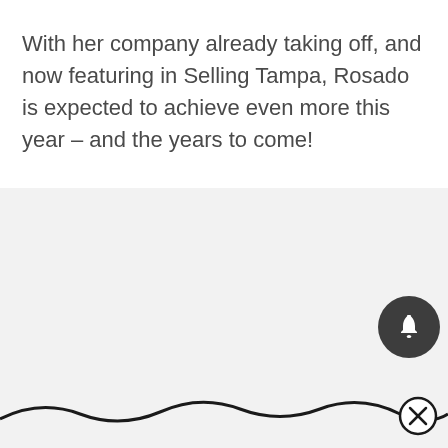With her company already taking off, and now featuring in Selling Tampa, Rosado is expected to achieve even more this year – and the years to come!
[Figure (other): Light gray background section with a dark circular notification bell button icon on the right side, and a wave/swoosh decorative line with a close (X) button at the bottom of the page.]